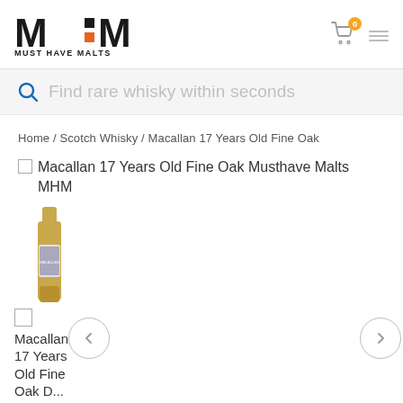[Figure (logo): Must Have Malts logo - MHM letters with orange and dark square accents, text MUST HAVE MALTS below]
Find rare whisky within seconds
Home / Scotch Whisky / Macallan 17 Years Old Fine Oak
Macallan 17 Years Old Fine Oak Musthave Malts MHM
[Figure (photo): Macallan 17 Years Old Fine Oak whisky bottle]
Macallan 17 Years Old Fine Oak D...